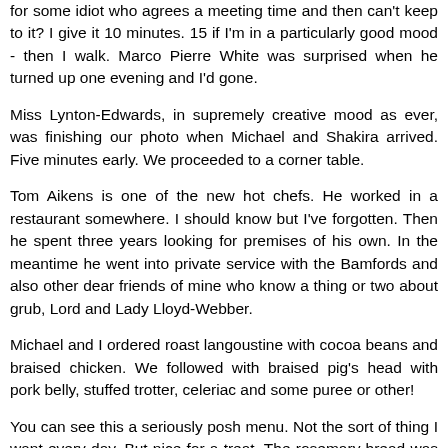for some idiot who agrees a meeting time and then can't keep to it? I give it 10 minutes. 15 if I'm in a particularly good mood - then I walk. Marco Pierre White was surprised when he turned up one evening and I'd gone.
Miss Lynton-Edwards, in supremely creative mood as ever, was finishing our photo when Michael and Shakira arrived. Five minutes early. We proceeded to a corner table.
Tom Aikens is one of the new hot chefs. He worked in a restaurant somewhere. I should know but I've forgotten. Then he spent three years looking for premises of his own. In the meantime he went into private service with the Bamfords and also other dear friends of mine who know a thing or two about grub, Lord and Lady Lloyd-Webber.
Michael and I ordered roast langoustine with cocoa beans and braised chicken. We followed with braised pig's head with pork belly, stuffed trotter, celeriac and some puree or other!
You can see this a seriously posh menu. Not the sort of thing I want every day. But nice for a treat. The rosemary bread was exceptionally good. The freebie duck mousse was lovely. The langoustines really superb. The pig's trotter was shrouded in something that resembled pasta.